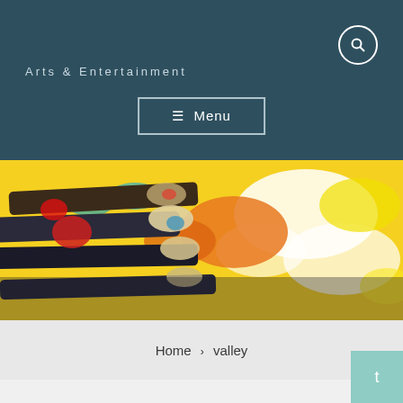Arts & Entertainment
☰ Menu
[Figure (photo): Close-up photo of colorful paint-covered paintbrushes against a yellow and white painted canvas background]
Home › valley
t